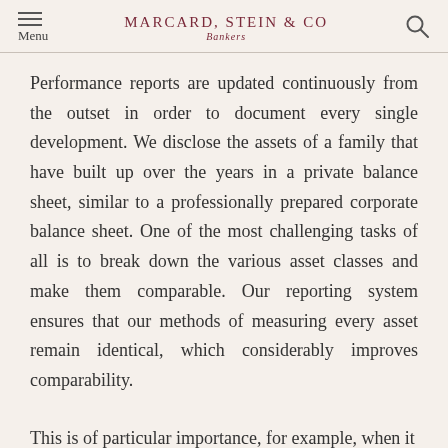MARCARD, STEIN & CO Bankers
Performance reports are updated continuously from the outset in order to document every single development. We disclose the assets of a family that have built up over the years in a private balance sheet, similar to a professionally prepared corporate balance sheet. One of the most challenging tasks of all is to break down the various asset classes and make them comparable. Our reporting system ensures that our methods of measuring every asset remain identical, which considerably improves comparability.
This is of particular importance, for example, when it